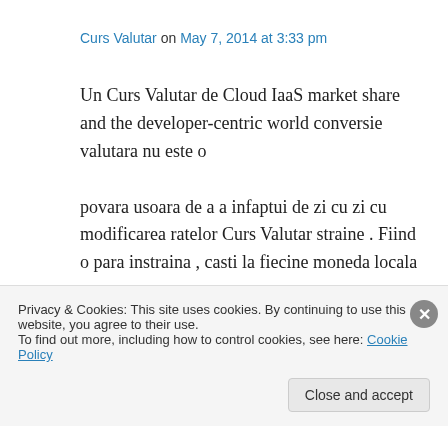Curs Valutar on May 7, 2014 at 3:33 pm
Un Curs Valutar de Cloud IaaS market share and the developer-centric world conversie valutara nu este o povara usoara de a a infaptui de zi cu zi cu modificarea ratelor Curs Valutar straine . Fiind o para instraina , casti la fiecine moneda locala se va a potrivi pentru Curs Valutar puterea de
Privacy & Cookies: This site uses cookies. By continuing to use this website, you agree to their use.
To find out more, including how to control cookies, see here: Cookie Policy
Close and accept